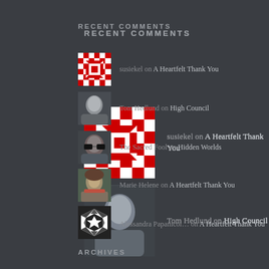RECENT COMMENTS
susiekel on A Heartfelt Thank You
Tom Hedlund on High Council
The Sacred Fool on Hidden Worlds
Marie Helene on A Heartfelt Thank You
Alessandra Papanicol… on A Heartfelt Thank You
ARCHIVES